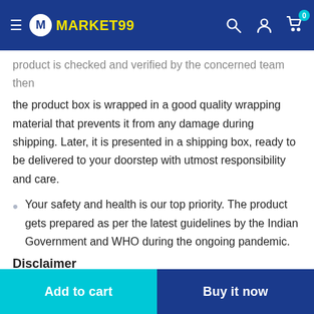MARKET99
product is checked and verified by the concerned team then the product box is wrapped in a good quality wrapping material that prevents it from any damage during shipping. Later, it is presented in a shipping box, ready to be delivered to your doorstep with utmost responsibility and care.
Your safety and health is our top priority. The product gets prepared as per the latest guidelines by the Indian Government and WHO during the ongoing pandemic.
Disclaimer
The actual product may differ a little in colour due to studio lighting and image resolution.